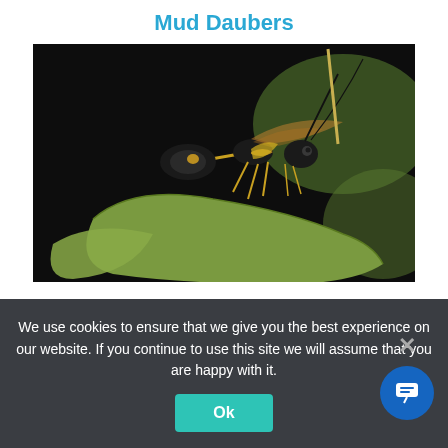Mud Daubers
[Figure (photo): Close-up photograph of a mud dauber wasp with yellow and black markings perched on a green leaf against a dark background]
Mud daubers are one of the only non-aggressive species of wasps that not only avoid humans but also won't
We use cookies to ensure that we give you the best experience on our website. If you continue to use this site we will assume that you are happy with it.
Ok